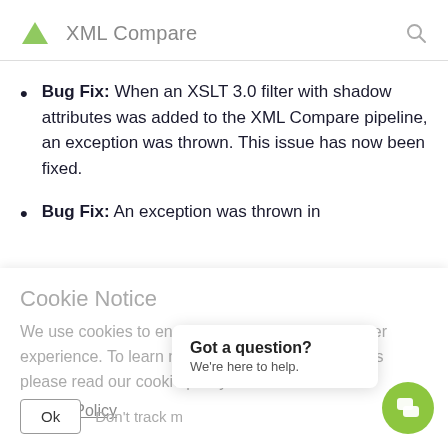XML Compare
Bug Fix: When an XSLT 3.0 filter with shadow attributes was added to the XML Compare pipeline, an exception was thrown. This issue has now been fixed.
Bug Fix: An exception was thrown in
Cookie Notice
We use cookies to ensure you receive the best user experience. To learn more about our use of cookies please read our cookie policy.
Cookie Policy
Ok
Don't track m
Got a question? We're here to help.